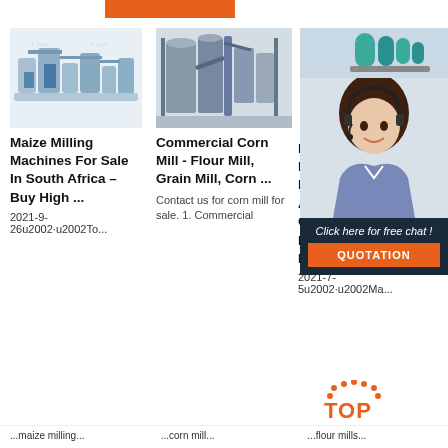[Figure (other): Orange navigation bar at top of page]
[Figure (photo): Maize milling machine industrial equipment photo]
[Figure (photo): Commercial corn mill machine industrial equipment photo]
[Figure (photo): 24/7 Online chat panel with customer service representative and equipment thumbnail]
Maize Milling Machines For Sale In South Africa – Buy High ...
Commercial Corn Mill - Flour Mill, Grain Mill, Corn ...
M... M... M... A... C... Maize Flour Mills
Contact us for corn mill for sale. 1. Commercial
2021-9-26u2002·u2002To...
2021-7-5u2002·u2002Ma...